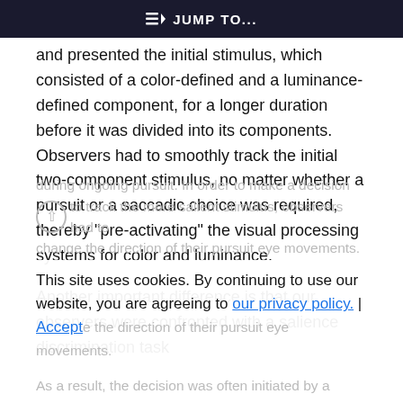JUMP TO...
and presented the initial stimulus, which consisted of a color-defined and a luminance-defined component, for a longer duration before it was divided into its components. Observers had to smoothly track the initial two-component stimulus, no matter whether a pursuit or a saccadic choice was required, thereby “pre-activating” the visual processing systems for color and luminance.
Another important difference is that our observers were confronted with a salience discrimination task during ongoing pursuit. In order to make a decision to track the more salient stimulus, observers had to change the direction of their pursuit eye movements. As a result, the decision was often initiated by a
This site uses cookies. By continuing to use our website, you are agreeing to our privacy policy. Accept